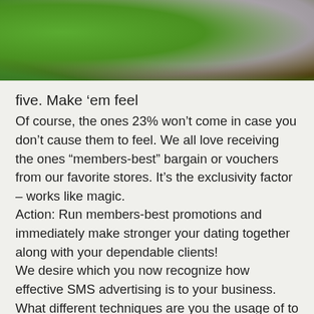[Figure (photo): Partial photo showing green background, a smartphone or device edge, and brown/dark tones in upper portion of page]
five. Make ‘em feel
Of course, the ones 23% won’t come in case you don’t cause them to feel. We all love receiving the ones “members-best” bargain or vouchers from our favorite stores. It’s the exclusivity factor – works like magic.
Action: Run members-best promotions and immediately make stronger your dating together along with your dependable clients!
We desire which you now recognize how effective SMS advertising is to your business.
What different techniques are you the usage of to hold your clients coming back?